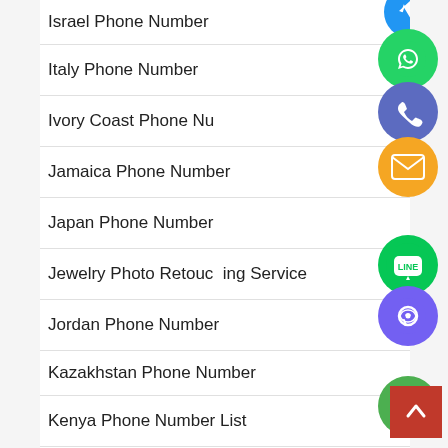Israel Phone Number
Italy Phone Number
Ivory Coast Phone Number
Jamaica Phone Number
Japan Phone Number
Jewelry Photo Retouching Service
Jordan Phone Number
Kazakhstan Phone Number
Kenya Phone Number List